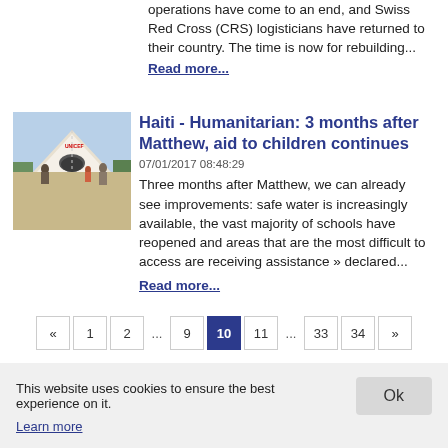operations have come to an end, and Swiss Red Cross (CRS) logisticians have returned to their country. The time is now for rebuilding...
Read more...
Haiti - Humanitarian: 3 months after Matthew, aid to children continues
07/01/2017 08:48:29
Three months after Matthew, we can already see improvements: safe water is increasingly available, the vast majority of schools have reopened and areas that are the most difficult to access are receiving assistance » declared...
Read more...
[Figure (photo): Photo of a humanitarian tent/shelter in Haiti with people standing outside]
« 1 2 ... 9 10 11 ... 33 34 »
This website uses cookies to ensure the best experience on it. Learn more Ok